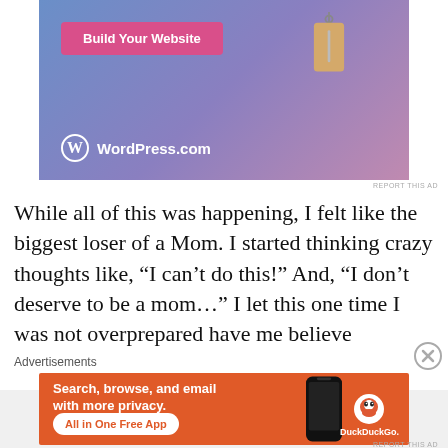[Figure (illustration): WordPress.com advertisement banner with blue-purple gradient background, a pink 'Build Your Website' button, a hanging price tag illustration, and WordPress logo with 'WordPress.com' text in white.]
REPORT THIS AD
While all of this was happening, I felt like the biggest loser of a Mom. I started thinking crazy thoughts like, “I can’t do this!” And, “I don’t deserve to be a mom…” I let this one time I was not overprepared have me believe
Advertisements
[Figure (illustration): DuckDuckGo advertisement on orange background. Text: 'Search, browse, and email with more privacy. All in One Free App'. Shows a smartphone and DuckDuckGo logo.]
REPORT THIS AD